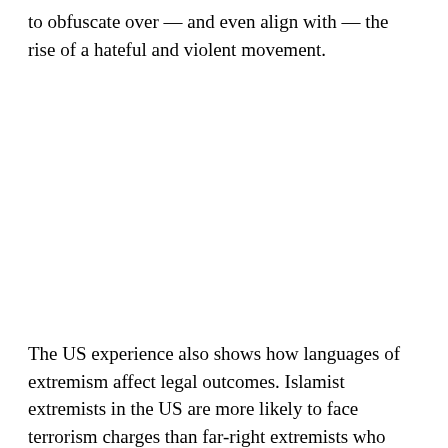to obfuscate over — and even align with — the rise of a hateful and violent movement.
The US experience also shows how languages of extremism affect legal outcomes. Islamist extremists in the US are more likely to face terrorism charges than far-right extremists who